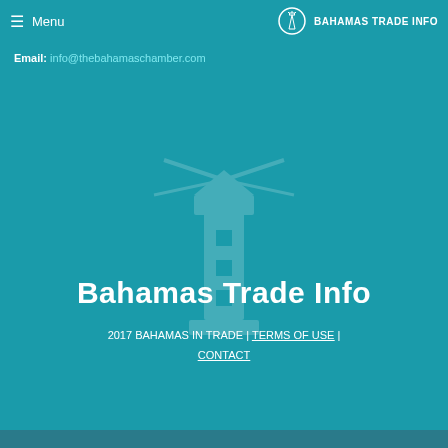≡ Menu | BAHAMAS TRADE INFO
Email: info@thebahamaschamber.com
[Figure (logo): Bahamas Trade Info lighthouse logo watermark in center of page, semi-transparent white]
Bahamas Trade Info
2017 BAHAMAS IN TRADE | TERMS OF USE | CONTACT